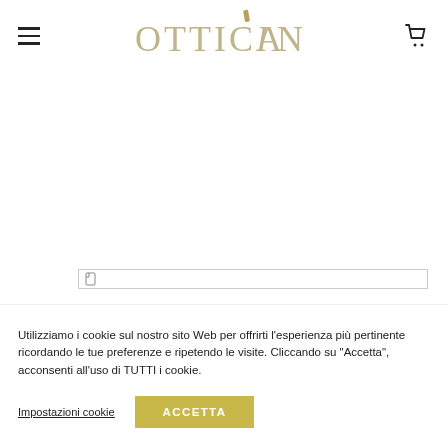[Figure (logo): OtticaIN logo with decorative serif lettering in gold/tan color and stylized accent mark above the I]
Utilizziamo i cookie sul nostro sito Web per offrirti l'esperienza più pertinente ricordando le tue preferenze e ripetendo le visite. Cliccando su "Accetta", acconsenti all'uso di TUTTI i cookie.
Impostazioni cookie
ACCETTA